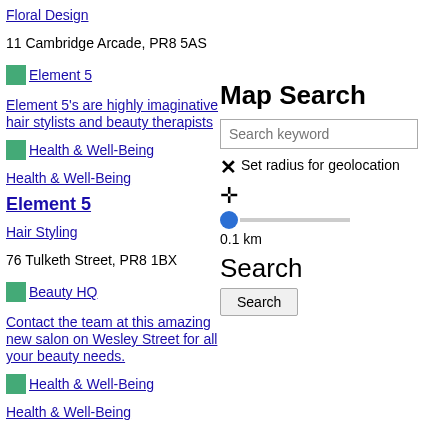Floral Design
11 Cambridge Arcade, PR8 5AS
Map Search
[Figure (screenshot): Map search UI overlay with search keyword input, close button, Set radius for geolocation label, geolocation icon, slider at 0.1 km, Search heading, and Search button]
Element 5
Element 5's are highly imaginative hair stylists and beauty therapists
Health & Well-Being
Health & Well-Being
Element 5
Hair Styling
76 Tulketh Street, PR8 1BX
Beauty HQ
Contact the team at this amazing new salon on Wesley Street for all your beauty needs.
Health & Well-Being
Health & Well-Being